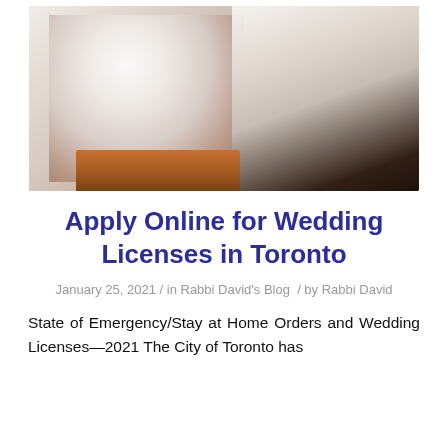[Figure (photo): A close-up photo of a fluffy white animal (likely a cat or small dog) sitting or perched on a wooden box/shelf, with white lace fabric hanging in the background and a dark background to the right.]
Apply Online for Wedding Licenses in Toronto
January 25, 2021 / in Rabbi David's Blog / by Rabbi David
State of Emergency/Stay at Home Orders and Wedding Licenses—2021 The City of Toronto has